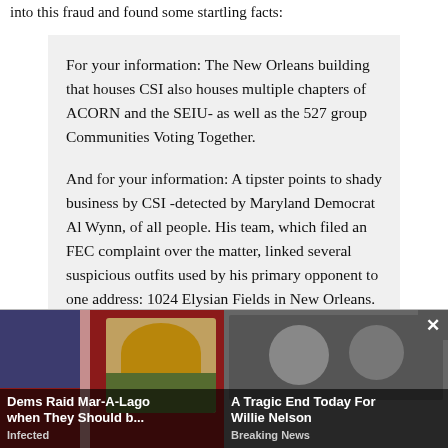into this fraud and found some startling facts:
For your information: The New Orleans building that houses CSI also houses multiple chapters of ACORN and the SEIU- as well as the 527 group Communities Voting Together.

And for your information: A tipster points to shady business by CSI -detected by Maryland Democrat Al Wynn, of all people. His team, which filed an FEC complaint over the matter, linked several suspicious outfits used by his primary opponent to one address: 1024 Elysian Fields in New Orleans. That's the address o...
As we've... apparently
[Figure (screenshot): Advertisement overlay with two clickbait news thumbnails. Left: 'Dems Raid Mar-A-Lago when They Should b...' tagged 'Infected' with image of Trump. Right: 'A Tragic End Today For Willie Nelson' tagged 'Breaking News' with image of elderly man. Close button (×) visible top right.]